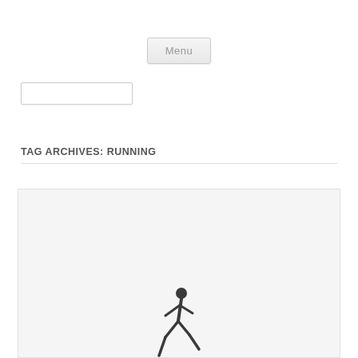Menu
[Figure (other): Search input box, empty]
TAG ARCHIVES: RUNNING
[Figure (photo): A person mid-run, silhouette style, dark figure against white background, cropped at bottom of page]